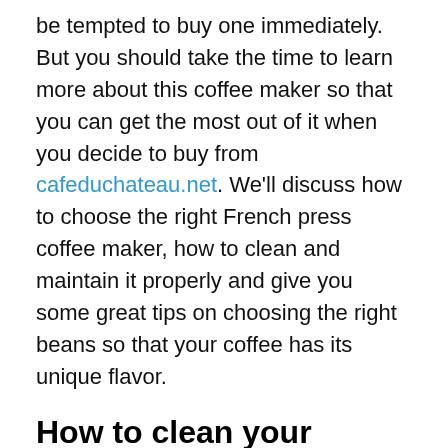be tempted to buy one immediately. But you should take the time to learn more about this coffee maker so that you can get the most out of it when you decide to buy from cafeduchateau.net. We'll discuss how to choose the right French press coffee maker, how to clean and maintain it properly and give you some great tips on choosing the right beans so that your coffee has its unique flavor.
How to clean your french press?
To get your french press in tip-top shape, start by boiling some water on your stove. While it's coming to a boil, clean out your french press with some soap and warm water. Once you have a full pot of boiling water, put about 10 percent coffee grounds into your press. You can use a ratio anywhere from 15:1 (coffee grounds: water) to 50:1 for stronger flavors. After that, slowly pour the boiling water